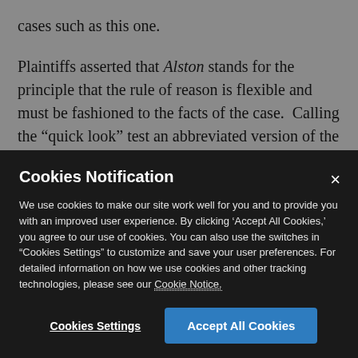cases such as this one.
Plaintiffs asserted that Alston stands for the principle that the rule of reason is flexible and must be fashioned to the facts of the case.  Calling the “quick look” test an abbreviated version of the rule of reason, the workers said that whether that test
Cookies Notification
We use cookies to make our site work well for you and to provide you with an improved user experience. By clicking ‘Accept All Cookies,’ you agree to our use of cookies. You can also use the switches in “Cookies Settings” to customize and save your user preferences. For detailed information on how we use cookies and other tracking technologies, please see our Cookie Notice.
Cookies Settings
Accept All Cookies